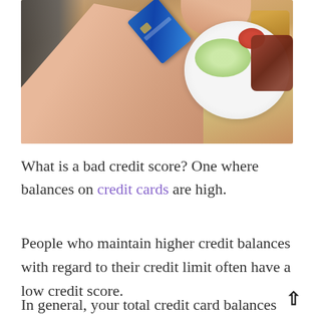[Figure (photo): A photo of a person handing a blue credit card across a restaurant table with food — salad, steak, sauce bowl, and fries visible on a white plate.]
What is a bad credit score? One where balances on credit cards are high.
People who maintain higher credit balances with regard to their credit limit often have a low credit score.
In general, your total credit card balances are